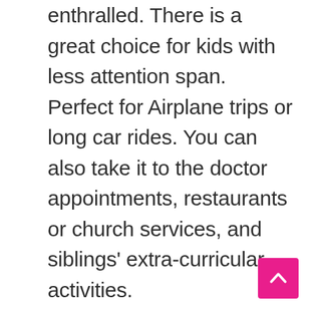enthralled. There is a great choice for kids with less attention span. Perfect for Airplane trips or long car rides. You can also take it to the doctor appointments, restaurants or church services, and siblings' extra-curricular activities.
[Figure (other): Pink back-to-top button with upward chevron arrow in bottom-right corner]